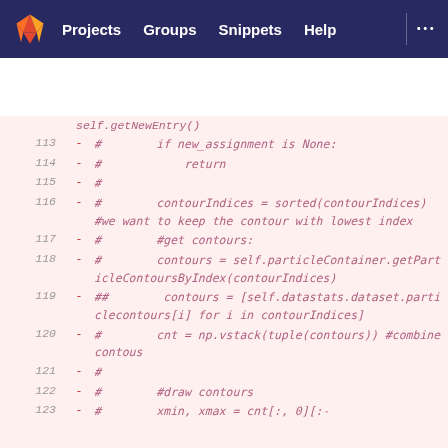GitLab navigation: Projects, Groups, Snippets, Help
[Figure (screenshot): GitLab code diff view showing commented-out Python code lines 113-123 with removed lines indicated by minus signs]
self.getNewEntry()
113 - #        if new_assignment is None:
114 - #            return
115 - #
116 - #        contourIndices = sorted(contourIndices)    #we want to keep the contour with lowest index
117 - #        #get contours:
118 - #        contours = self.particleContainer.getParticleContoursByIndex(contourIndices)
119 - ##        contours = [self.datastats.dataset.particlecontours[i] for i in contourIndices]
120 - #        cnt = np.vstack(tuple(contours)) #combine contous
121 - #
122 - #        #draw contours
123 - #        xmin, xmax = cnt[:, 0][:-